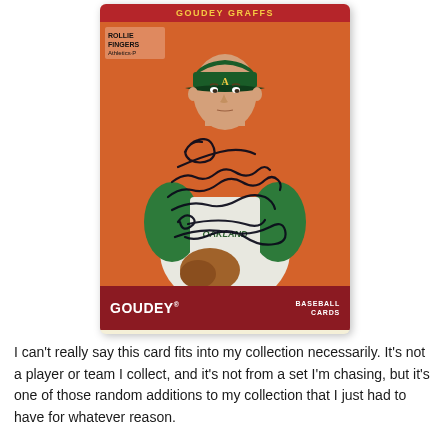[Figure (illustration): A Goudey Graffs baseball card showing Rollie Fingers of the Oakland Athletics. The card has an orange background with a painted illustration of the player in green and white uniform holding a baseball glove. The card has a dark red top banner reading 'GOUDEY GRAFFS', a player name box in the upper left reading 'ROLLIE FINGERS / Athletics', a large autograph signature overlaid on the image, and a bottom strip reading 'GOUDEY® BASEBALL CARDS'.]
I can't really say this card fits into my collection necessarily. It's not a player or team I collect, and it's not from a set I'm chasing, but it's one of those random additions to my collection that I just had to have for whatever reason.